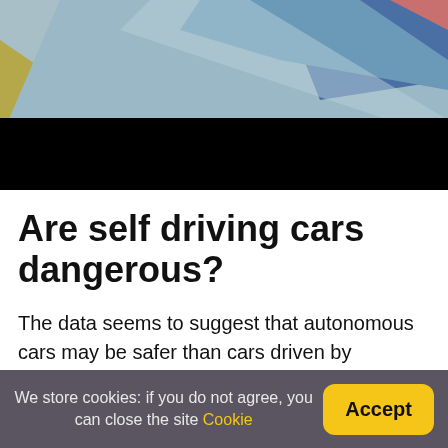[Figure (illustration): Abstract colorful geometric design with blue, teal, olive/yellow shapes on top half, with a black redacted/censored bar across the lower portion of the image]
Are self driving cars dangerous?
The data seems to suggest that autonomous cars may be safer than cars driven by humans. Most car accidents are caused by human error. Self-driving
We store cookies: if you do not agree, you can close the site Cookie    Accept